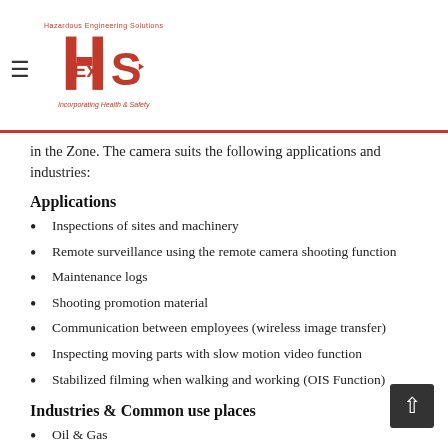Hazardous Engineering Solutions — HES — Incorporating Health & Safety
in the Zone. The camera suits the following applications and industries:
Applications
Inspections of sites and machinery
Remote surveillance using the remote camera shooting function
Maintenance logs
Shooting promotion material
Communication between employees (wireless image transfer)
Inspecting moving parts with slow motion video function
Stabilized filming when walking and working (OIS Function)
Industries & Common use places
Oil & Gas